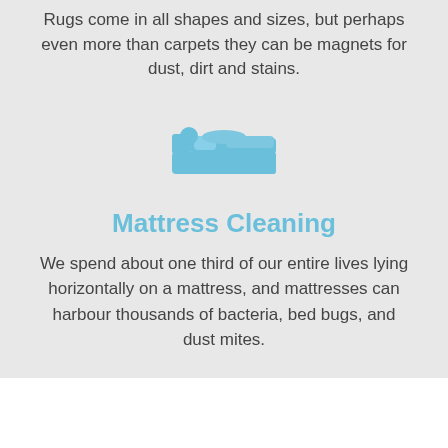Rugs come in all shapes and sizes, but perhaps even more than carpets they can be magnets for dust, dirt and stains.
[Figure (illustration): A light blue bed icon showing a person lying in a bed, viewed from the side.]
Mattress Cleaning
We spend about one third of our entire lives lying horizontally on a mattress, and mattresses can harbour thousands of bacteria, bed bugs, and dust mites.